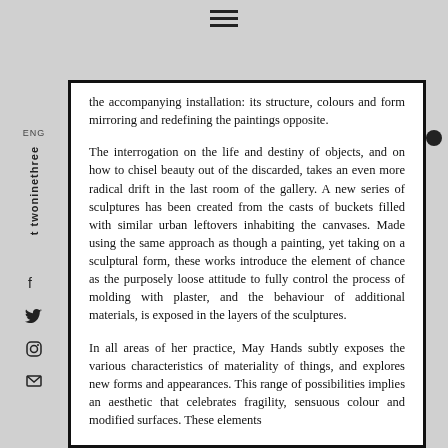the accompanying installation: its structure, colours and form mirroring and redefining the paintings opposite.
The interrogation on the life and destiny of objects, and on how to chisel beauty out of the discarded, takes an even more radical drift in the last room of the gallery. A new series of sculptures has been created from the casts of buckets filled with similar urban leftovers inhabiting the canvases. Made using the same approach as though a painting, yet taking on a sculptural form, these works introduce the element of chance as the purposely loose attitude to fully control the process of molding with plaster, and the behaviour of additional materials, is exposed in the layers of the sculptures.
In all areas of her practice, May Hands subtly exposes the various characteristics of materiality of things, and explores new forms and appearances. This range of possibilities implies an aesthetic that celebrates fragility, sensuous colour and modified surfaces. These elements